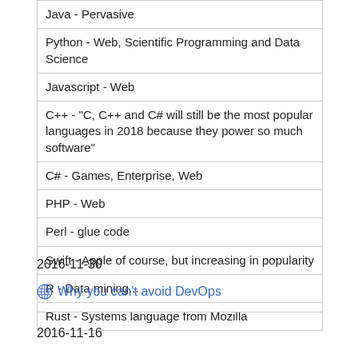| Java - Pervasive |
| Python - Web, Scientific Programming and Data Science |
| Javascript - Web |
| C++ - "C, C++ and C# will still be the most popular languages in 2018 because they power so much software" |
| C# - Games, Enterprise, Web |
| PHP - Web |
| Perl - glue code |
| Swift - Apple of course, but increasing in popularity |
| R - Data mining... |
| Rust - Systems language from Mozilla |
2016-11-30
Why you can't avoid DevOps
2016-11-16